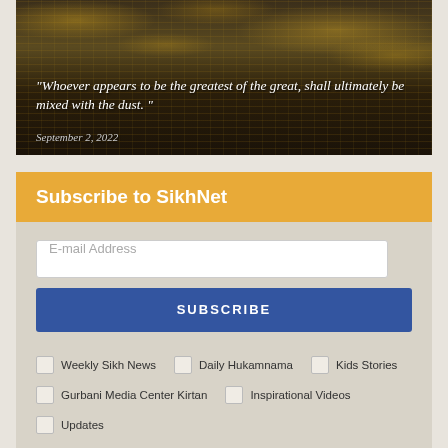[Figure (photo): Dark water with golden reflections, used as background for a quote image]
"Whoever appears to be the greatest of the great, shall ultimately be mixed with the dust. "
September 2, 2022
Subscribe to SikhNet
E-mail Address
SUBSCRIBE
Weekly Sikh News
Daily Hukamnama
Kids Stories
Gurbani Media Center Kirtan
Inspirational Videos
Updates